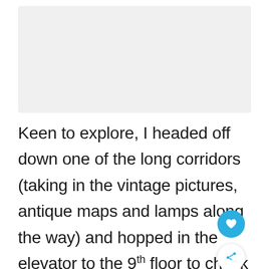[Figure (photo): A photograph placeholder area at the top of the page, shown as a light gray rectangle]
Keen to explore, I headed off down one of the long corridors (taking in the vintage pictures, antique maps and lamps along the way) and hopped in the elevator to the 9th floor to check out the chic